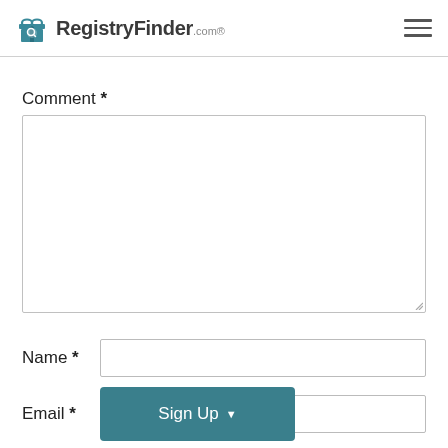RegistryFinder.com®
Comment *
Name *
Email *